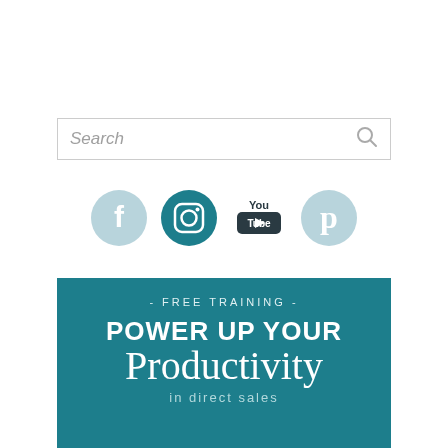[Figure (screenshot): Search bar with placeholder text 'Search' and a search icon on the right]
[Figure (infographic): Row of four social media icons: Facebook (light blue circle), Instagram (dark teal circle), YouTube (dark rectangle with 'You Tube'), Pinterest (light teal circle)]
[Figure (infographic): Teal banner with text '- FREE TRAINING -', 'POWER UP YOUR', 'Productivity' in script font, and 'in direct sales' partially visible at bottom]